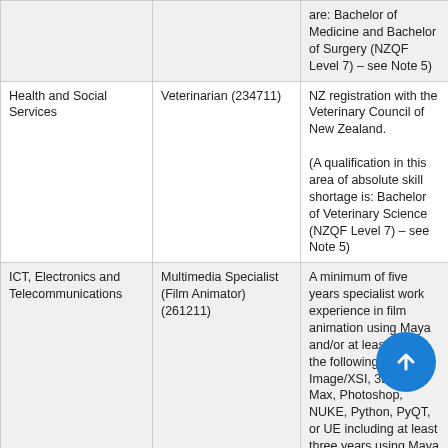| Industry/Sector | Occupation | Qualifications/Experience |
| --- | --- | --- |
|  |  | are: Bachelor of Medicine and Bachelor of Surgery (NZQF Level 7) – see Note 5) |
| Health and Social Services | Veterinarian (234711) | NZ registration with the Veterinary Council of New Zealand.

(A qualification in this area of absolute skill shortage is: Bachelor of Veterinary Science (NZQF Level 7) – see Note 5) |
| ICT, Electronics and Telecommunications | Multimedia Specialist (Film Animator) (261211) | A minimum of five years specialist work experience in film animation using Maya and/or at least one of the following - Soft Image/XSI, 3D Studio Max, Photoshop, NUKE, Python, PyQT, or UE including at least three years using Maya |
| ICT, Electronics and | CT Project Manager | One of the following:- |